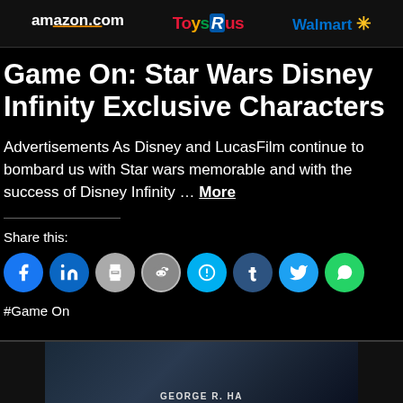amazon.com | ToysRus | Walmart
Game On: Star Wars Disney Infinity Exclusive Characters
Advertisements As Disney and LucasFilm continue to bombard us with Star wars memorable and with the success of Disney Infinity … More
Share this:
[Figure (infographic): Row of social media share buttons: Facebook, LinkedIn, Print, Reddit, Skype, Tumblr, Twitter, WhatsApp]
#Game On
[Figure (photo): Bottom strip showing partial image, appears to be a sci-fi/George Lucas related scene with text partially visible]